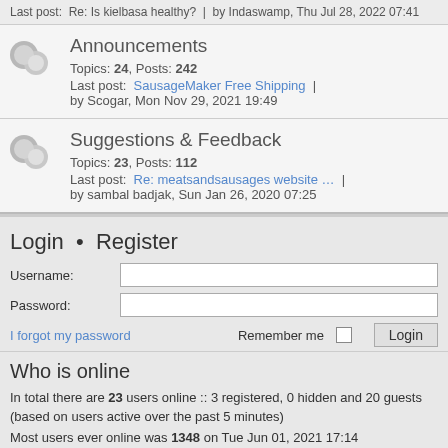Last post: Re: Is kielbasa healthy? | by Indaswamp, Thu Jul 28, 2022 07:41
Announcements
Topics: 24, Posts: 242
Last post: SausageMaker Free Shipping | by Scogar, Mon Nov 29, 2021 19:49
Suggestions & Feedback
Topics: 23, Posts: 112
Last post: Re: meatsandsausages website … | by sambal badjak, Sun Jan 26, 2020 07:25
Login • Register
Username:
Password:
I forgot my password
Remember me  Login
Who is online
In total there are 23 users online :: 3 registered, 0 hidden and 20 guests (based on users active over the past 5 minutes)
Most users ever online was 1348 on Tue Jun 01, 2021 17:14
Statistics